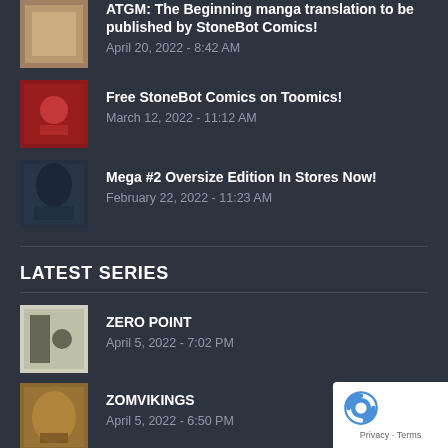ATGM: The Beginning manga translation to be published by StoneBot Comics! — April 20, 2022 - 8:42 AM
Free StoneBot Comics on Toomics! — March 12, 2022 - 11:12 AM
Mega #2 Oversize Edition In Stores Now! — February 22, 2022 - 11:23 AM
LATEST SERIES
ZERO POINT — April 5, 2022 - 7:02 PM
ZOMVIKINGS — April 5, 2022 - 6:50 PM
RANCAT — November 28, 2021 - 3:46 PM
MONARCH